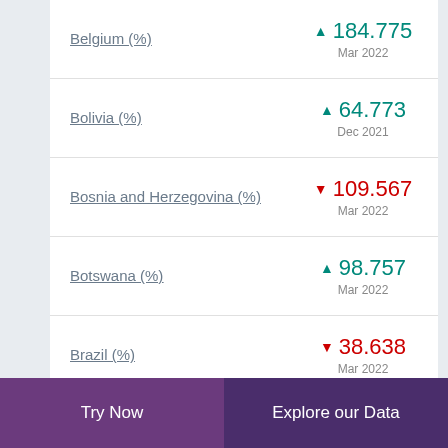Belgium (%) ▲ 184.775 Mar 2022
Bolivia (%) ▲ 64.773 Dec 2021
Bosnia and Herzegovina (%) ▼ 109.567 Mar 2022
Botswana (%) ▲ 98.757 Mar 2022
Brazil (%) ▼ 38.638 Mar 2022
Try Now | Explore our Data